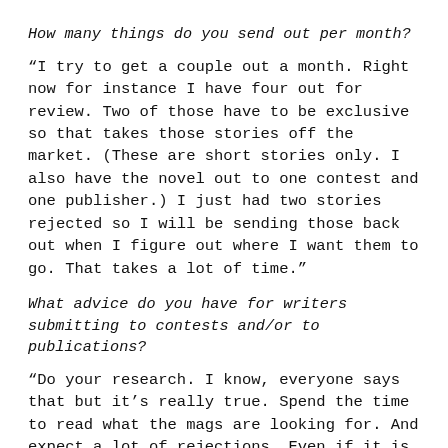How many things do you send out per month?
“I try to get a couple out a month. Right now for instance I have four out for review. Two of those have to be exclusive so that takes those stories off the market. (These are short stories only. I also have the novel out to one contest and one publisher.) I just had two stories rejected so I will be sending those back out when I figure out where I want them to go. That takes a lot of time.”
What advice do you have for writers submitting to contests and/or to publications?
“Do your research. I know, everyone says that but it’s really true. Spend the time to read what the mags are looking for. And expect a lot of rejections. Even if it is what they are looking for. Get down about it for a day, then get over it and move on.